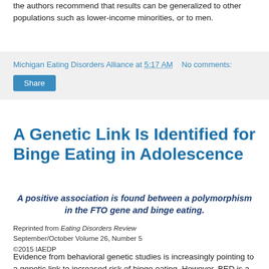the authors recommend that results can be generalized to other populations such as lower-income minorities, or to men.
Michigan Eating Disorders Alliance at 5:17 AM   No comments:
Share
A Genetic Link Is Identified for Binge Eating in Adolescence
A positive association is found between a polymorphism in the FTO gene and binge eating.
Reprinted from Eating Disorders Review
September/October Volume 26, Number 5
©2015 IAEDP
Evidence from behavioral genetic studies is increasingly pointing to a genetic link to increased risk of binge eating. However, BED is a more recent addition to the group of recognized eating disorders, and thus few studies before this had traced a possible genetic link specifically for BED.